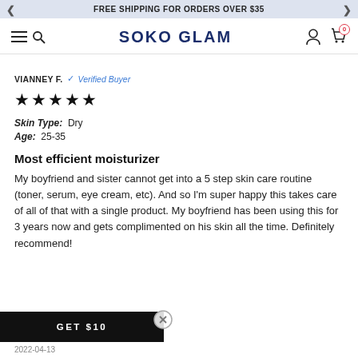FREE SHIPPING FOR ORDERS OVER $35
[Figure (logo): Soko Glam website navigation bar with hamburger menu, search icon, SOKO GLAM logo, user account icon, and cart icon]
VIANNEY F. ✓ Verified Buyer
[Figure (other): Five black star rating]
Skin Type: Dry
Age: 25-35
Most efficient moisturizer
My boyfriend and sister cannot get into a 5 step skin care routine (toner, serum, eye cream, etc). And so I'm super happy this takes care of all of that with a single product. My boyfriend has been using this for 3 years now and gets complimented on his skin all the time. Definitely recommend!
GET $10
2022-04-13